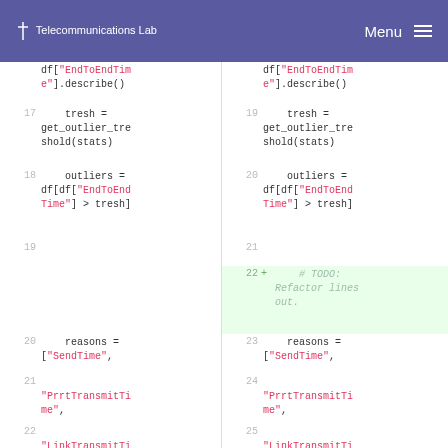Telecommunications Lab   Menu
Code diff showing two columns of Python code with line numbers. Left column lines 17-22, right column lines 19-25. Line 22 on the right is a newly added comment line: # TODO: Refactor lines out.